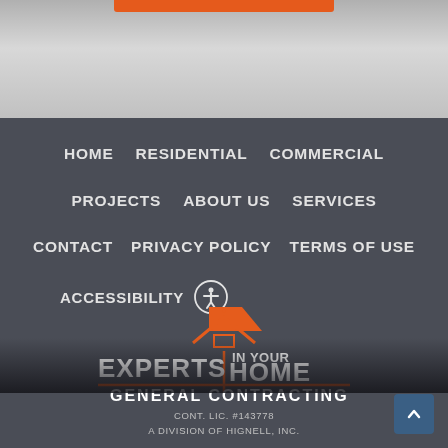[Figure (screenshot): Top gray gradient bar with orange accent bar at top center]
HOME
RESIDENTIAL
COMMERCIAL
PROJECTS
ABOUT US
SERVICES
CONTACT
PRIVACY POLICY
TERMS OF USE
ACCESSIBILITY
[Figure (logo): Experts In Your Home General Contracting logo with orange house icon]
CONT. LIC. #143778
A DIVISION OF HIGNELL, INC.